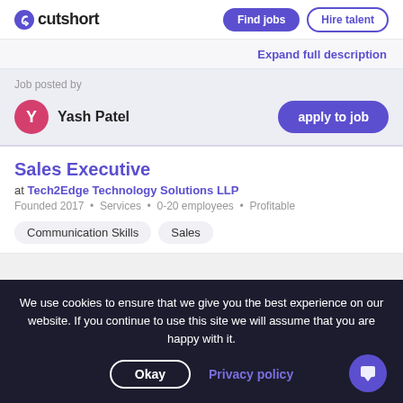[Figure (logo): Cutshort logo with purple icon and text]
Find jobs
Hire talent
Expand full description
Job posted by
Yash Patel
apply to job
Sales Executive
at Tech2Edge Technology Solutions LLP
Founded 2017 · Services · 0-20 employees · Profitable
Communication Skills
Sales
We use cookies to ensure that we give you the best experience on our website. If you continue to use this site we will assume that you are happy with it.
Okay
Privacy policy